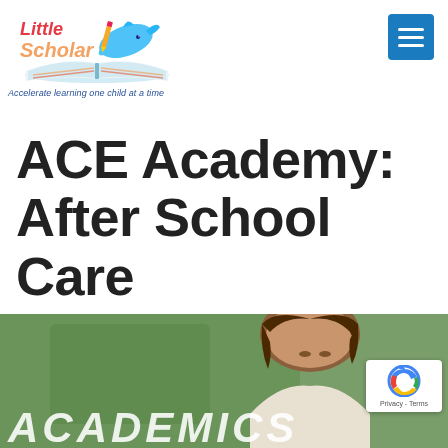Little Scholar — Accelerate learning one child at a time
ACE Academy: After School Care
[Figure (photo): Photo of a student studying, with green background, partially visible text 'ACADEMICS' at bottom]
[Figure (logo): Little Scholar logo with dolphin and pencil graphic]